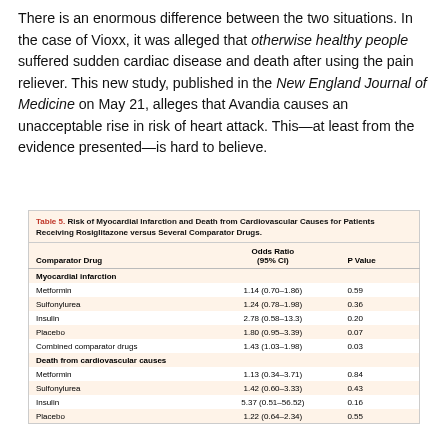There is an enormous difference between the two situations. In the case of Vioxx, it was alleged that otherwise healthy people suffered sudden cardiac disease and death after using the pain reliever. This new study, published in the New England Journal of Medicine on May 21, alleges that Avandia causes an unacceptable rise in risk of heart attack. This—at least from the evidence presented—is hard to believe.
| Comparator Drug | Odds Ratio (95% CI) | P Value |
| --- | --- | --- |
| Myocardial infarction |  |  |
| Metformin | 1.14 (0.70–1.86) | 0.59 |
| Sulfonylurea | 1.24 (0.78–1.98) | 0.36 |
| Insulin | 2.78 (0.58–13.3) | 0.20 |
| Placebo | 1.80 (0.95–3.39) | 0.07 |
| Combined comparator drugs | 1.43 (1.03–1.98) | 0.03 |
| Death from cardiovascular causes |  |  |
| Metformin | 1.13 (0.34–3.71) | 0.84 |
| Sulfonylurea | 1.42 (0.60–3.33) | 0.43 |
| Insulin | 5.37 (0.51–56.52) | 0.16 |
| Placebo | 1.22 (0.64–2.34) | 0.55 |